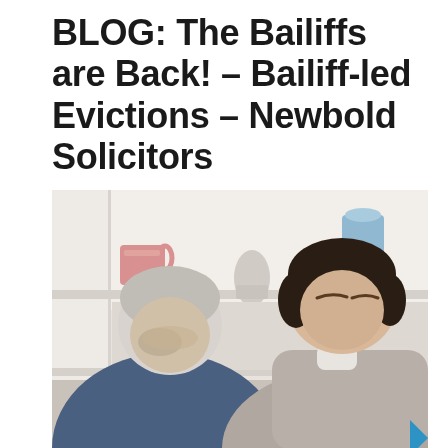BLOG: The Bailiffs are Back! – Bailiff-led Evictions – Newbold Solicitors
[Figure (photo): Two men looking at documents together — an older man with grey hair resting his hand on his forehead in a stressed posture, and a younger dark-haired man leaning over looking at something. Background shows white shelving unit with decorative items including a floral mug and blue container. A blue arrow graphic is visible in the bottom right corner.]